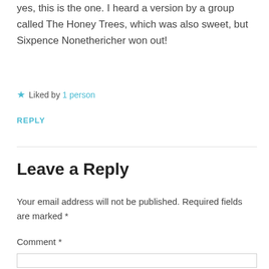yes, this is the one. I heard a version by a group called The Honey Trees, which was also sweet, but Sixpence Nonethericher won out!
★ Liked by 1 person
REPLY
Leave a Reply
Your email address will not be published. Required fields are marked *
Comment *